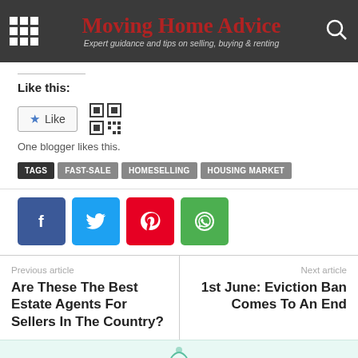Moving Home Advice — Expert guidance and tips on selling, buying & renting
Like this:
One blogger likes this.
TAGS  FAST-SALE  HOMESELLING  HOUSING MARKET
[Figure (infographic): Social share buttons: Facebook, Twitter, Pinterest, WhatsApp]
Previous article
Are These The Best Estate Agents For Sellers In The Country?
Next article
1st June: Eviction Ban Comes To An End